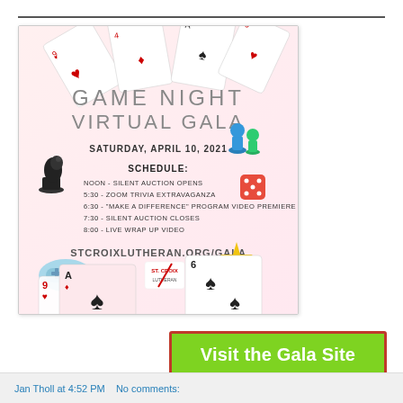[Figure (illustration): Game Night Virtual Gala flyer for St. Croix Lutheran. Saturday, April 10, 2021. Schedule: Noon - Silent Auction Opens, 5:30 - Zoom Trivia Extravaganza, 6:30 - Make a Difference Program Video Premiere, 7:30 - Silent Auction Closes, 8:00 - Live Wrap Up Video. stcroixlutheran.org/gala. Decorated with playing cards, chess piece, dice, game controller, board game pawns, star.]
Visit the Gala Site
Jan Tholl at 4:52 PM   No comments: